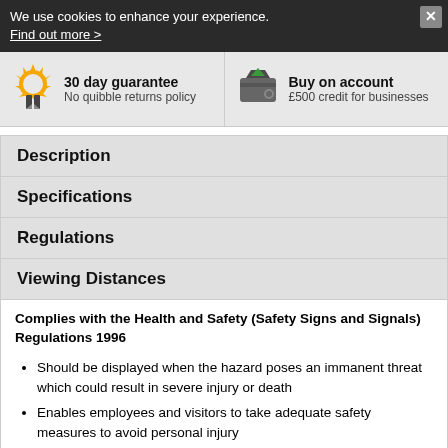We use cookies to enhance your experience. Find out more >
30 day guarantee
No quibble returns policy
Buy on account
£500 credit for businesses
Description
Specifications
Regulations
Viewing Distances
Complies with the Health and Safety (Safety Signs and Signals) Regulations 1996
Should be displayed when the hazard poses an immanent threat which could result in severe injury or death
Enables employees and visitors to take adequate safety measures to avoid personal injury
Conforms to EN ISO 7010:2012
Highly durable – choose from robust 3mm aluminium composite,